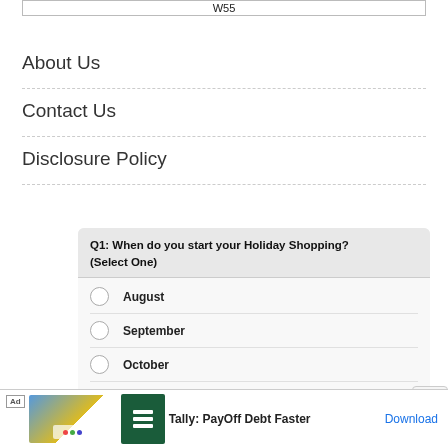W55
About Us
Contact Us
Disclosure Policy
[Figure (other): Survey question box: Q1: When do you start your Holiday Shopping? (Select One) with radio button options: August, September, October, November]
[Figure (other): Ad banner: Tally: PayOff Debt Faster with Download link]